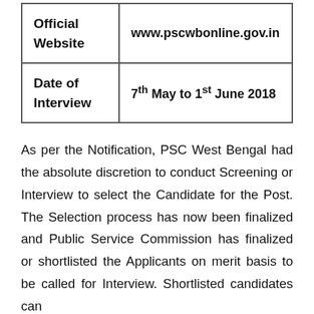| Official Website | www.pscwbonline.gov.in |
| Date of Interview | 7th May to 1st June 2018 |
As per the Notification, PSC West Bengal had the absolute discretion to conduct Screening or Interview to select the Candidate for the Post. The Selection process has now been finalized and Public Service Commission has finalized or shortlisted the Applicants on merit basis to be called for Interview. Shortlisted candidates can